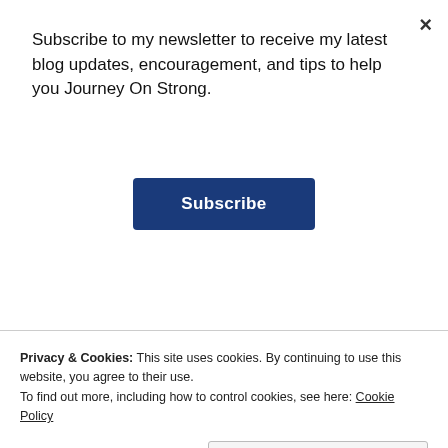Subscribe to my newsletter to receive my latest blog updates, encouragement, and tips to help you Journey On Strong.
Subscribe
Nurse: You don't know if you were talking to your boyfriend? (She starts laughing)
[Figure (screenshot): WordPress.com advertisement banner: 'Simplified pricing for everything you need.']
Privacy & Cookies: This site uses cookies. By continuing to use this website, you agree to their use.
To find out more, including how to control cookies, see here: Cookie Policy
Close and accept